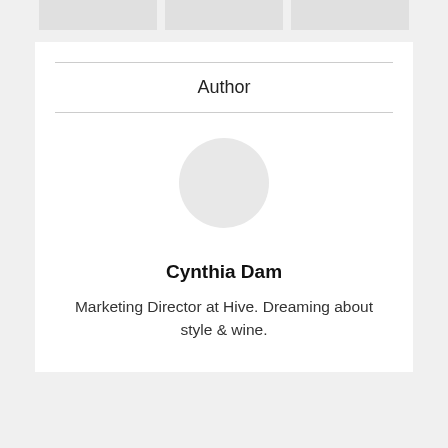[Figure (other): Three gray placeholder image cells in a row at the top of the page]
Author
[Figure (photo): Circular author avatar placeholder image]
Cynthia Dam
Marketing Director at Hive. Dreaming about style & wine.